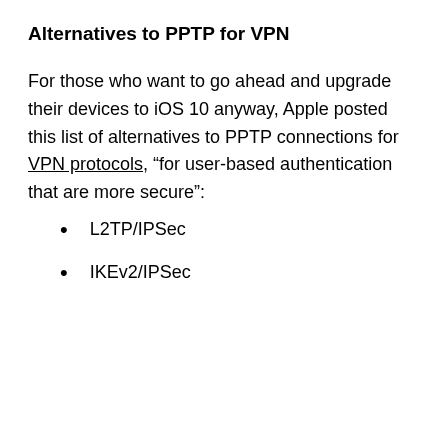Alternatives to PPTP for VPN
For those who want to go ahead and upgrade their devices to iOS 10 anyway, Apple posted this list of alternatives to PPTP connections for VPN protocols, “for user-based authentication that are more secure”:
L2TP/IPSec
IKEv2/IPSec